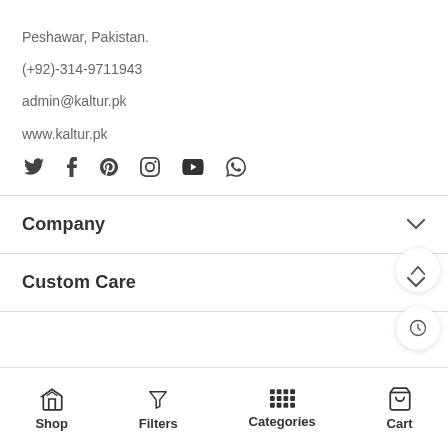Peshawar, Pakistan.
(+92)-314-9711943
admin@kaltur.pk
www.kaltur.pk
[Figure (other): Social media icons row: Twitter, Facebook, Pinterest, Instagram, YouTube, WhatsApp]
Company
Custom Care
Shop  Filters  Categories  Cart